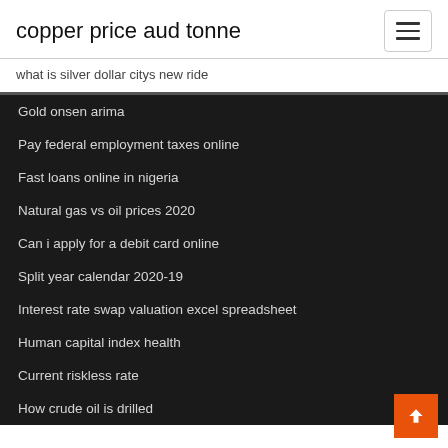copper price aud tonne
what is silver dollar citys new ride
Gold onsen arima
Pay federal employment taxes online
Fast loans online in nigeria
Natural gas vs oil prices 2020
Can i apply for a debit card online
Split year calendar 2020-19
Interest rate swap valuation excel spreadsheet
Human capital index health
Current riskless rate
How crude oil is drilled